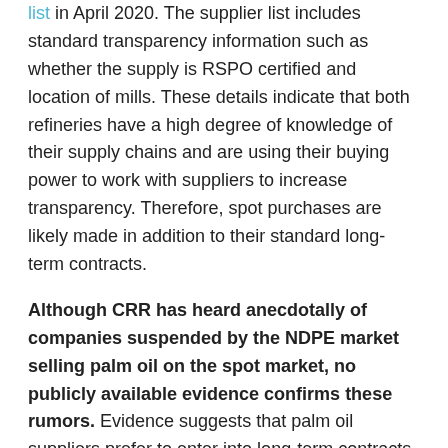list in April 2020. The supplier list includes standard transparency information such as whether the supply is RSPO certified and location of mills. These details indicate that both refineries have a high degree of knowledge of their supply chains and are using their buying power to work with suppliers to increase transparency. Therefore, spot purchases are likely made in addition to their standard long-term contracts.
Although CRR has heard anecdotally of companies suspended by the NDPE market selling palm oil on the spot market, no publicly available evidence confirms these rumors. Evidence suggests that palm oil suppliers prefer to enter into long-term contracts, while the spot market is used as a stop-gap measure when market opportunities decrease or palm oil prices are not favorable, rather than as a long-term business strategy. Some non-compliant palm oil suppliers choose to enter long-term contracts with buyers that disregard NDPE policies, even though